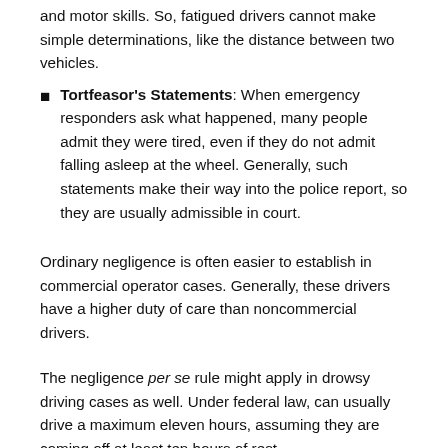and motor skills. So, fatigued drivers cannot make simple determinations, like the distance between two vehicles.
Tortfeasor's Statements: When emergency responders ask what happened, many people admit they were tired, even if they do not admit falling asleep at the wheel. Generally, such statements make their way into the police report, so they are usually admissible in court.
Ordinary negligence is often easier to establish in commercial operator cases. Generally, these drivers have a higher duty of care than noncommercial drivers.
The negligence per se rule might apply in drowsy driving cases as well. Under federal law, can usually drive a maximum eleven hours, assuming they are coming off at least ten hours of rest.